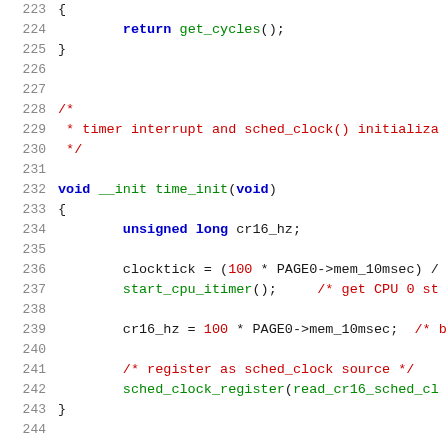Source code listing, lines 223–244, C programming language with syntax highlighting. Shows functions returning get_cycles(), a comment block about timer interrupt and sched_clock() initialization, and void __init time_init(void) function with body including unsigned long cr16_hz, clocktick assignment, start_cpu_itimer(), cr16_hz assignment, sched_clock source registration comment, and sched_clock_register call.